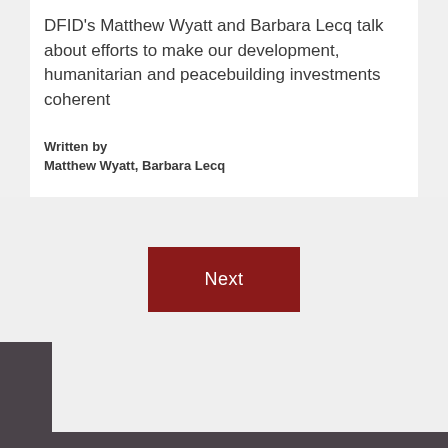DFID's Matthew Wyatt and Barbara Lecq talk about efforts to make our development, humanitarian and peacebuilding investments coherent
Written by
Matthew Wyatt, Barbara Lecq
[Figure (other): Next button - dark red rectangular button with white text reading 'Next']
SIGN UP FOR OUR NEWSLETTER TO RECEIVE REGULAR NEWS AND UPDATES